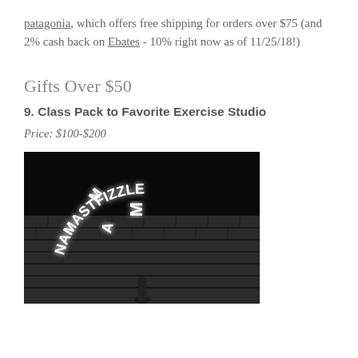patagonia, which offers free shipping for orders over $75 (and 2% cash back on Ebates - 10% right now as of 11/25/18!)
Gifts Over $50
9. Class Pack to Favorite Exercise Studio
Price: $100-$200
[Figure (photo): Black and white photo of a neon sign reading 'NAMASTFIZZLE' arranged in an arch over a brick wall, with a person standing below.]